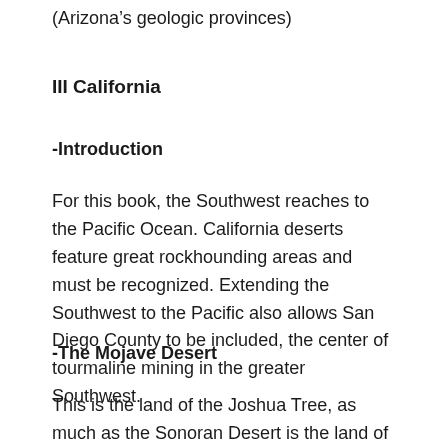(Arizona's geologic provinces)
III California
-Introduction
For this book, the Southwest reaches to the Pacific Ocean. California deserts feature great rockhounding areas and must be recognized. Extending the Southwest to the Pacific also allows San Diego County to be included, the center of tourmaline mining in the greater Southwest.
-The Mojave Desert
This is the land of the Joshua Tree, as much as the Sonoran Desert is the land of the Saguaro. The two